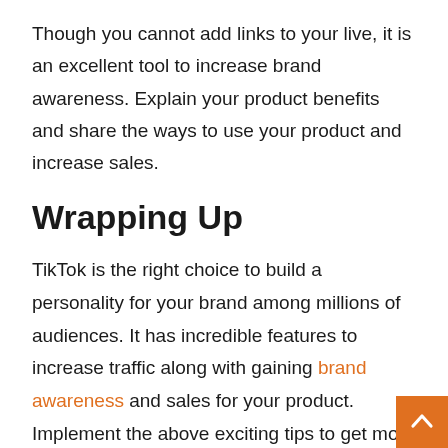Though you cannot add links to your live, it is an excellent tool to increase brand awareness. Explain your product benefits and share the ways to use your product and increase sales.
Wrapping Up
TikTok is the right choice to build a personality for your brand among millions of audiences. It has incredible features to increase traffic along with gaining brand awareness and sales for your product. Implement the above exciting tips to get more traffic and sales through TikTok. Correct marketing strategy with excellent guidance will lead to tremendous growth in your business!